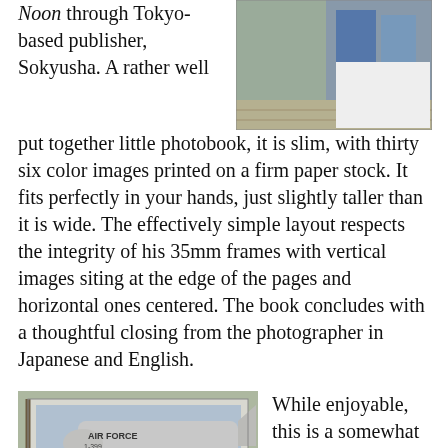Noon through Tokyo-based publisher, Sokyusha. A rather well put together little photobook, it is slim, with thirty six color images printed on a firm paper stock. It fits perfectly in your hands, just slightly taller than it is wide. The effectively simple layout respects the integrity of his 35mm frames with vertical images siting at the edge of the pages and horizontal ones centered. The book concludes with a thoughtful closing from the photographer in Japanese and English.
[Figure (photo): Open photobook showing a photograph of two people, partially visible, with a white page on the right side]
[Figure (photo): Open photobook showing a photograph of people standing near an Air Force aircraft on a tarmac, with text 'AIR FORCE' visible on the plane]
While enjoyable, this is a somewhat a peculiar book to find an audience for. Perhaps it is too particular to that single day it pictures to make much sense outside of its context to an